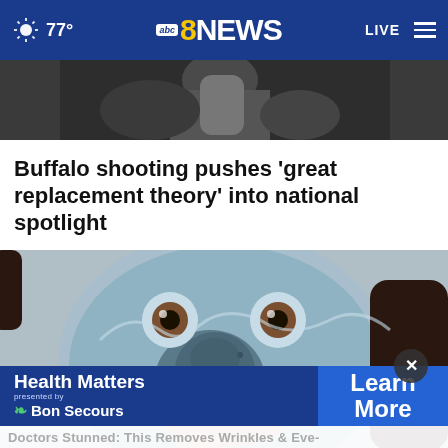77° abc8NEWS LIVE
[Figure (photo): Partial view of a person holding a container, cropped top image]
Buffalo shooting pushes 'great replacement theory' into national spotlight
[Figure (photo): Close-up photo of a woman wearing a blue/grey clay face mask with darker areas around the nose]
[Figure (screenshot): Advertisement banner: Health Matters presented by Bon Secours with Learn More button]
Doctors Stunned: This Removes Wrinkles & Eve-